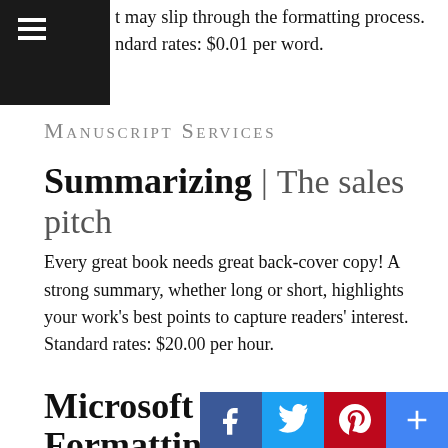t may slip through the formatting process. ndard rates: $0.01 per word.
Manuscript Services
Summarizing | The sales pitch
Every great book needs great back-cover copy! A strong summary, whether long or short, highlights your work's best points to capture readers' interest. Standard rates: $20.00 per hour.
Microsoft Word Formatting | The industry standard
Are you finished with your project but intimidated by formatting? Meticulous Micro formatting to f…